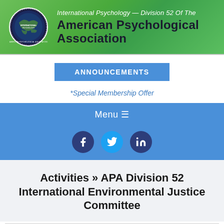[Figure (logo): APA Division 52 International Psychology logo with circular badge and green world map banner. Text reads: International Psychology — Division 52 Of The American Psychological Association]
ANNOUNCEMENTS
*Special Membership Offer
Menu ≡
[Figure (infographic): Social media icons: Facebook (dark blue circle), Twitter (light blue circle), LinkedIn (dark blue circle)]
Activities » APA Division 52 International Environmental Justice Committee